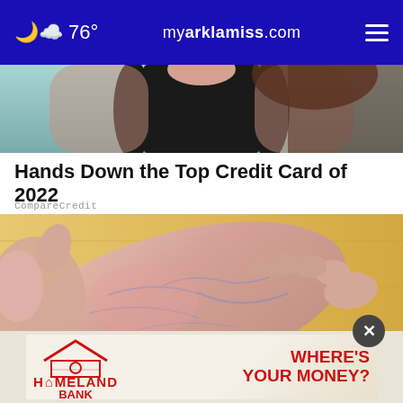76° myarklamiss.com
[Figure (photo): Partial view of a person with dark hair and black top against teal background]
Hands Down the Top Credit Card of 2022
CompareCredit
[Figure (photo): Close-up photo of a human foot being held, showing veins and skin detail against a yellow wooden floor background]
[Figure (photo): Homeland Bank advertisement banner: WHERE'S YOUR MONEY?]